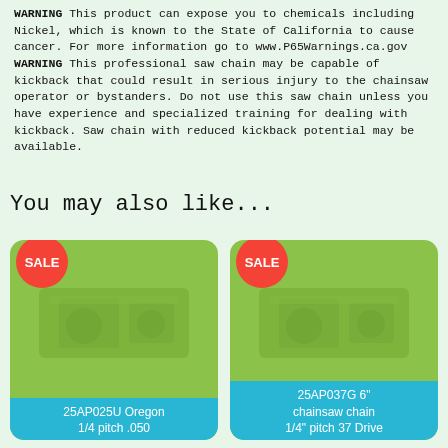WARNING This product can expose you to chemicals including Nickel, which is known to the State of California to cause cancer. For more information go to www.P65Warnings.ca.gov
WARNING This professional saw chain may be capable of kickback that could result in serious injury to the chainsaw operator or bystanders. Do not use this saw chain unless you have experience and specialized training for dealing with kickback. Saw chain with reduced kickback potential may be available.
You may also like...
[Figure (other): Product card with SALE badge for 25AP025U Oregon 1/4 pitch .050 chainsaw chain, green card background with product image]
[Figure (other): Product card with SALE badge for 25AP037G 6" chainsaw chain 1/4" pitch 37 Drive, green card background with product image]